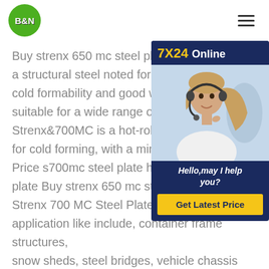B&N
Buy strenx 650 mc steel plate price Strenx 700MC is a structural steel noted for its high strength, excellent cold formability and good weldability, which makes it suitable for a wide range of applications. Strenx&700MC is a hot-rolled structural steel optimized for cold forming, with a minimum yield strength of 700MPa. Price s700mc steel plate high strength structural steel plate Buy strenx 650 mc steel plate price Strenx 700 MC Steel Plate are mostly used application like include, container frame structures, snow sheds, steel bridges, vehicle chassis and building constructions, etc.Strenx 700 Plates, 700 MC, 700 MC Plus, 700 CR, 700 OME(plate) What is
[Figure (infographic): Chat widget with '7X24 Online' header in dark blue background with yellow '7X24' text, photo of customer service representative wearing headset, text 'Hello, may I help you?' in white italic, and yellow 'Get Latest Price' button]